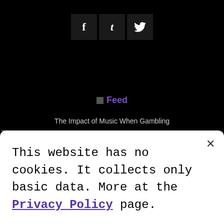[Figure (other): Social media share buttons: Facebook (f), Tumblr (t), and Twitter (bird icon) as dark square icon buttons]
Feed
The Impact of Music When Gambling
The impact of music on gamblers has been studied. From the role of music in dang by kubet and other [...] The post The Impact of Music When Gambling first appeared on In Heaven.
How Music and Gambling Work Together to Engage Players?
If you've ever been to an arcade or a bowling alley, you'll know that games and music go hand in [...] The post How Music and Gambling Work Together to Engage Players? first appeared on In Heaven.
This website has no cookies. It collects only basic data. More at the Privacy Policy page.